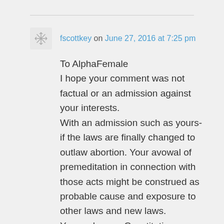fscottkey on June 27, 2016 at 7:25 pm
To AlphaFemale
I hope your comment was not factual or an admission against your interests.
With an admission such as yours- if the laws are finally changed to outlaw abortion. Your avowal of premeditation in connection with those acts might be construed as probable cause and exposure to other laws and new laws.
Yes we have a Constitution proscribing ex post facto laws. But